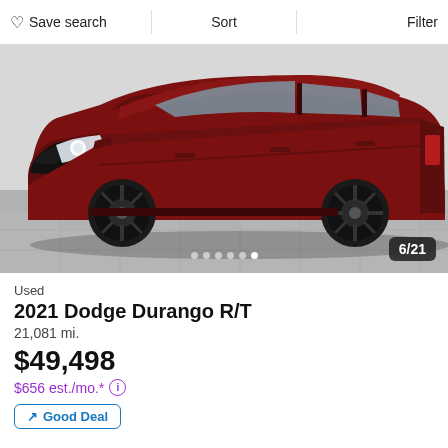Save search | Sort | Filter
[Figure (photo): Photo of a dark red/maroon 2021 Dodge Durango R/T SUV parked in a showroom with checkered floor tile. The vehicle has black wheels and LED headlights. Image counter 6/21 shown in bottom right corner.]
Used
2021 Dodge Durango R/T
21,081 mi.
$49,498
$656 est./mo.*
Good Deal